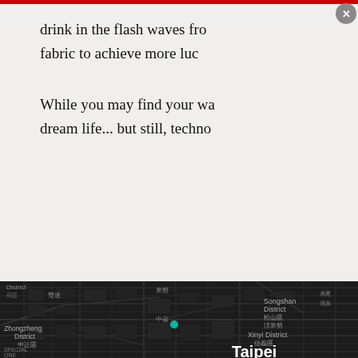drink in the flash waves fro… fabric to achieve more luc…
While you may find your wa… dream life… but still, techno…
[Figure (screenshot): Video popup modal on dark background showing 'THIS VIDEO IS' text with an X mark and 'OK' button. Has a close (X) button in top-right corner.]
[Figure (map): Dark-themed map of Taipei, Taiwan showing street grid with district labels in English and Chinese: District, 司區, 雙連, 東勢, Songshan District 松山區, 洲尾, 渭美, 頂東勢, 中崙, Zhongzheng District 中正區, Xinyi District 信義區, SPECIAL ONE 愛特區, Taipei 台北. A teal/green dot marks a location near center.]